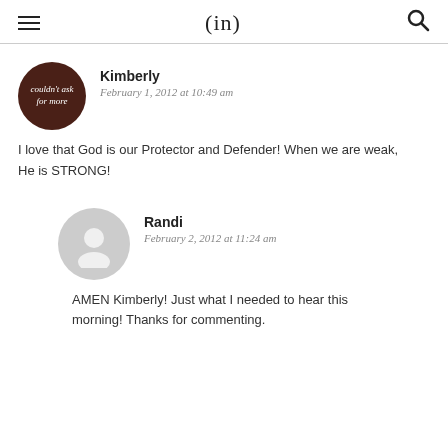(in)
[Figure (illustration): Round dark brown avatar with cursive text 'couldn't ask for more']
Kimberly
February 1, 2012 at 10:49 am
I love that God is our Protector and Defender! When we are weak, He is STRONG!
[Figure (illustration): Gray circular default user avatar icon]
Randi
February 2, 2012 at 11:24 am
AMEN Kimberly! Just what I needed to hear this morning! Thanks for commenting.